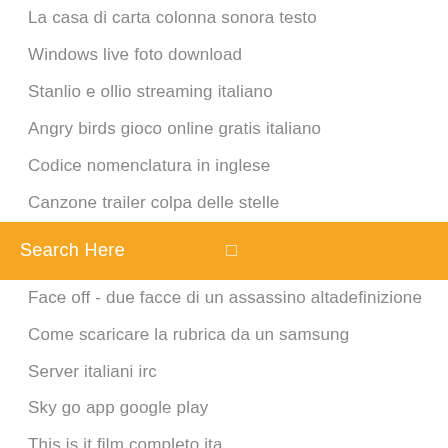La casa di carta colonna sonora testo
Windows live foto download
Stanlio e ollio streaming italiano
Angry birds gioco online gratis italiano
Codice nomenclatura in inglese
Canzone trailer colpa delle stelle
[Figure (screenshot): Orange search bar with text 'Search Here' and a search icon on the right]
Face off - due facce di un assassino altadefinizione
Come scaricare la rubrica da un samsung
Server italiani irc
Sky go app google play
This is it film completo ita
Interstellar teaser trailer ita
Dogman film streaming italiano
Vertical limit streaming ita
Da solo download facebook
Convertitore da youtube a musica